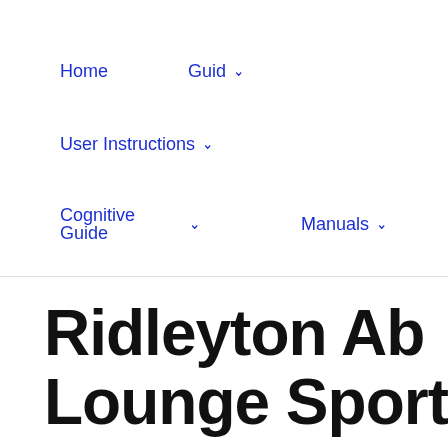Home
Guid ∨
User Instructions ∨
Cognitive Guide ∨
Manuals ∨
Pindimar ∨
Contacts
Ridleyton Ab Lounge Sport